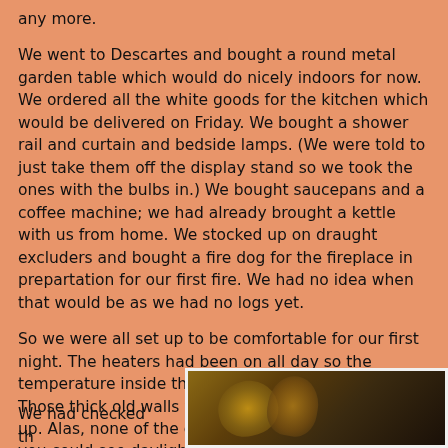any more.
We went to Descartes and bought a round metal garden table which would do nicely indoors for now. We ordered all the white goods for the kitchen which would be delivered on Friday. We bought a shower rail and curtain and bedside lamps. (We were told to just take them off the display stand so we took the ones with the bulbs in.) We bought saucepans and a coffee machine; we had already brought a kettle with us from home. We stocked up on draught excluders and bought a fire dog for the fireplace in prepartation for our first fire. We had no idea when that would be as we had no logs yet.
So we were all set up to be comfortable for our first night. The heaters had been on all day so the temperature inside the house was lifting slightly. Those thick old walls were taking a lot of warming up. Alas, none of the doors or windows fitted and you could see daylight through the roof on one side, so the whole house was extremely draughty.
We had checked
[Figure (photo): Dark photograph showing what appears to be staircase or interior wooden elements, dimly lit in warm brown tones]